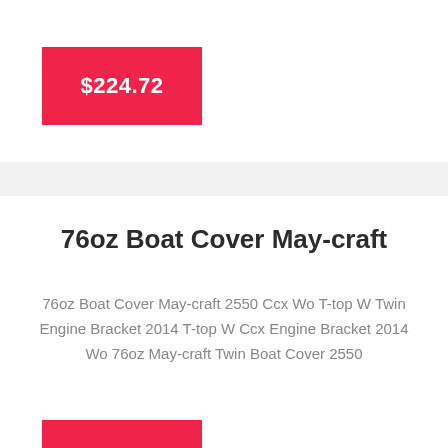$224.72
76oz Boat Cover May-craft
76oz Boat Cover May-craft 2550 Ccx Wo T-top W Twin Engine Bracket 2014 T-top W Ccx Engine Bracket 2014 Wo 76oz May-craft Twin Boat Cover 2550